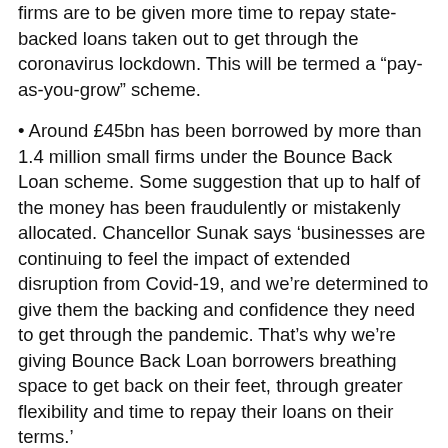firms are to be given more time to repay state-backed loans taken out to get through the coronavirus lockdown. This will be termed a “pay-as-you-grow” scheme.
• Around £45bn has been borrowed by more than 1.4 million small firms under the Bounce Back Loan scheme. Some suggestion that up to half of the money has been fraudulently or mistakenly allocated. Chancellor Sunak says ‘businesses are continuing to feel the impact of extended disruption from Covid-19, and we’re determined to give them the backing and confidence they need to get through the pandemic. That’s why we’re giving Bounce Back Loan borrowers breathing space to get back on their feet, through greater flexibility and time to repay their loans on their terms.’
• Langton Comment: The cliff edge coming up at the end of March features the end of the 5% VAT on food & soft drinks in pubs &